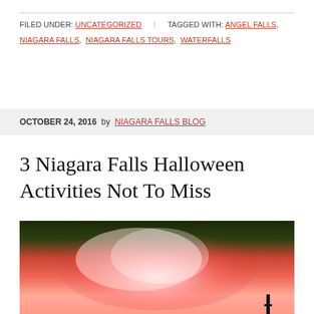FILED UNDER: UNCATEGORIZED | TAGGED WITH: ANGEL FALLS, NIAGARA FALLS, NIAGARA FALLS TOURS, WATERFALLS
OCTOBER 24, 2016 by NIAGARA FALLS BLOG
3 Niagara Falls Halloween Activities Not To Miss
[Figure (photo): Niagara Falls illuminated with red/orange Halloween lighting, showing mist rising with colorful lights against a dark background]